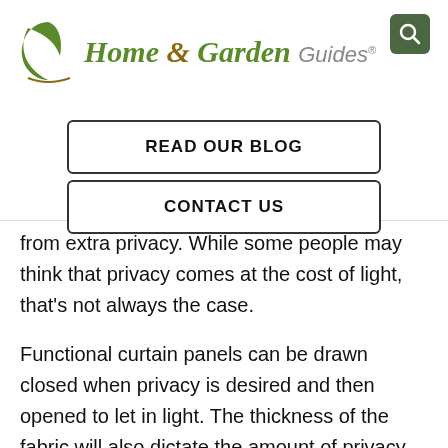[Figure (logo): Home & Garden Guides logo with green leaf icon and search button in top right]
READ OUR BLOG
CONTACT US
from extra privacy. While some people may think that privacy comes at the cost of light, that’s not always the case.
Functional curtain panels can be drawn closed when privacy is desired and then opened to let in light. The thickness of the fabric will also dictate the amount of privacy the panels create.